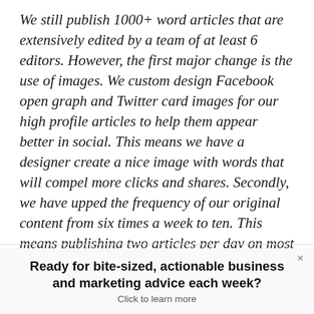We still publish 1000+ word articles that are extensively edited by a team of at least 6 editors. However, the first major change is the use of images. We custom design Facebook open graph and Twitter card images for our high profile articles to help them appear better in social. This means we have a designer create a nice image with words that will compel more clicks and shares. Secondly, we have upped the frequency of our original content from six times a week to ten. This means publishing two articles per day on most days.”
Ready for bite-sized, actionable business and marketing advice each week?
Click to learn more